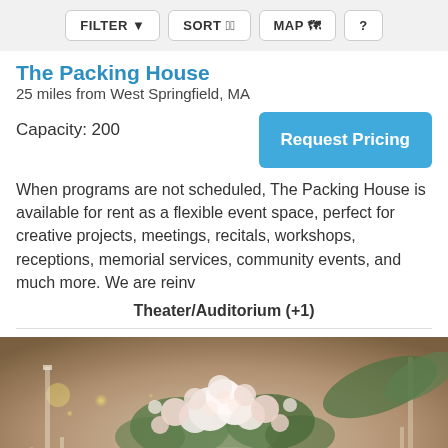FILTER | SORT | MAP | ?
The Packing House
25 miles from West Springfield, MA
Capacity: 200
Request Pricing
When programs are not scheduled, The Packing House is available for rent as a flexible event space, perfect for creative projects, meetings, recitals, workshops, receptions, memorial services, community events, and much more. We are reinv
Theater/Auditorium (+1)
[Figure (photo): A floral centerpiece with white and blush pink roses and greenery on a table set for an event, with glassware visible in the foreground and warm bokeh lights in the background.]